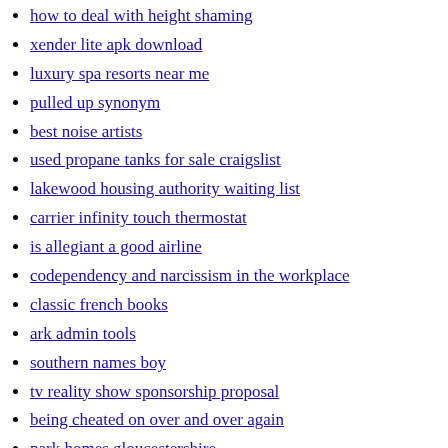how to deal with height shaming
xender lite apk download
luxury spa resorts near me
pulled up synonym
best noise artists
used propane tanks for sale craigslist
lakewood housing authority waiting list
carrier infinity touch thermostat
is allegiant a good airline
codependency and narcissism in the workplace
classic french books
ark admin tools
southern names boy
tv reality show sponsorship proposal
being cheated on over and over again
park homes gloucestershire
california water levels 2022
cbci sunday homily
dynavap vapcap
best rotary shaver
warrants in bonner county idaho
gettysburg gun show
tylenol banned in europe
mahi mahi fishing report florida keys
farhan ali waris noha lyrics